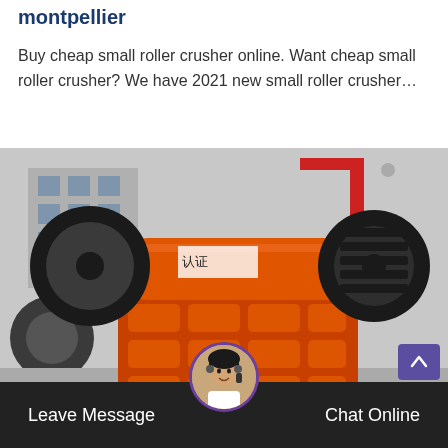montpellier
Buy cheap small roller crusher online. Want cheap small roller crusher? We have 2021 new small roller crusher…
[Figure (photo): Large orange industrial roller crusher machine with black cylindrical rollers and ribbed orange metal body housing, photographed outdoors in an industrial yard with a building and red crane structure visible in the background.]
Leave Message   Chat Online